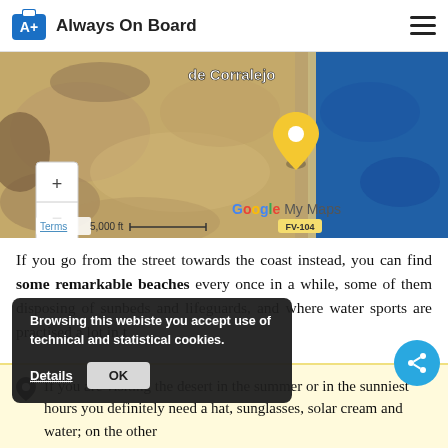Always On Board
[Figure (map): Google My Maps satellite view showing de Corralejo area coastal desert region with a yellow location pin marker. Shows road FV-104 along the coast. Map controls with + and - buttons visible. Scale bar shows 5,000 ft. Terms link visible.]
If you go from the street towards the coast instead, you can find some remarkable beaches every once in a while, some of them disposing of sunbeds and lifeguards, and where water sports are practised a lot in the area.
Browsing this webiste you accept use of technical and statistical cookies.
If you are visiting the desert in the summer or in the sunniest hours you definitely need a hat, sunglasses, solar cream and water; on the other